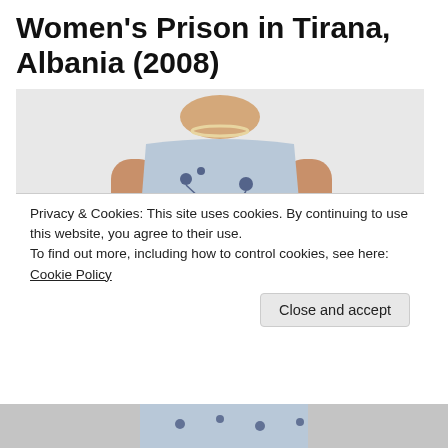Women's Prison in Tirana, Albania (2008)
[Figure (photo): Photograph of a woman wearing a silver/grey sleeveless dress with blue floral pattern, cropped from neck to mid-thigh, standing against a white background. She wears a pearl necklace, bracelets, and a gold watch.]
Privacy & Cookies: This site uses cookies. By continuing to use this website, you agree to their use.
To find out more, including how to control cookies, see here: Cookie Policy
[Figure (photo): Bottom strip of a second photograph, partially visible at the very bottom of the page.]